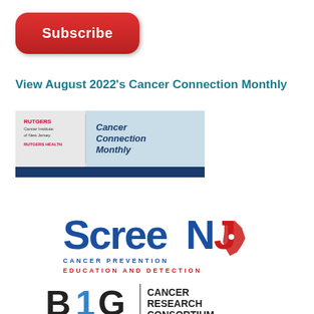[Figure (other): Red rounded rectangle Subscribe button]
View August 2022's Cancer Connection Monthly
[Figure (logo): Rutgers Cancer Institute of New Jersey - Cancer Connection Monthly banner with medical imagery]
[Figure (logo): ScreeNJ - Cancer Prevention Education and Detection logo with New Jersey state shape]
[Figure (logo): B1G Cancer Research Consortium logo]